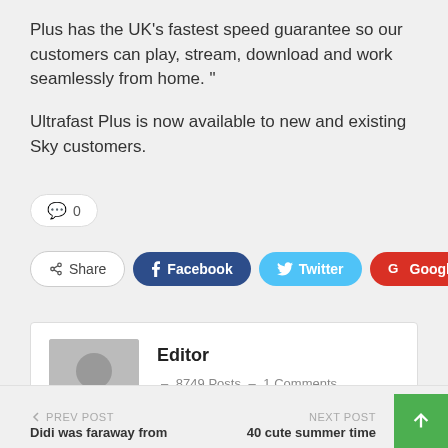Plus has the UK’s fastest speed guarantee so our customers can play, stream, download and work seamlessly from home. ”
Ultrafast Plus is now available to new and existing Sky customers.
0
Share  Facebook  Twitter  Google+  +
Editor – 8749 Posts – 1 Comments
PREV POST
Didi was faraway from
NEXT POST
40 cute summer time